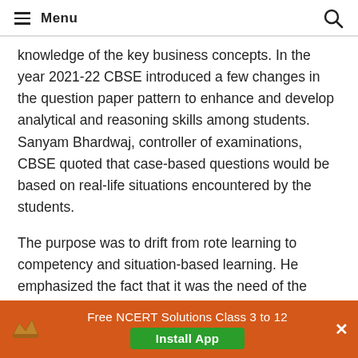Menu
knowledge of the key business concepts. In the year 2021-22 CBSE introduced a few changes in the question paper pattern to enhance and develop analytical and reasoning skills among students. Sanyam Bhardwaj, controller of examinations, CBSE quoted that case-based questions would be based on real-life situations encountered by the students.
The purpose was to drift from rote learning to competency and situation-based learning. He emphasized the fact that it was the need of the
Free NCERT Solutions Class 3 to 12 Install App